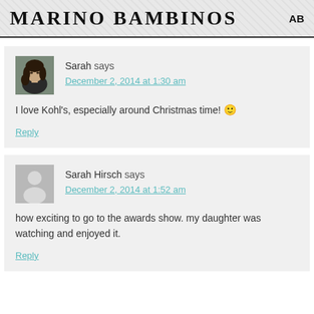MARINO BAMBINOS | AB
Sarah says
December 2, 2014 at 1:30 am
I love Kohl's, especially around Christmas time! 🙂
Reply
Sarah Hirsch says
December 2, 2014 at 1:52 am
how exciting to go to the awards show. my daughter was watching and enjoyed it.
Reply